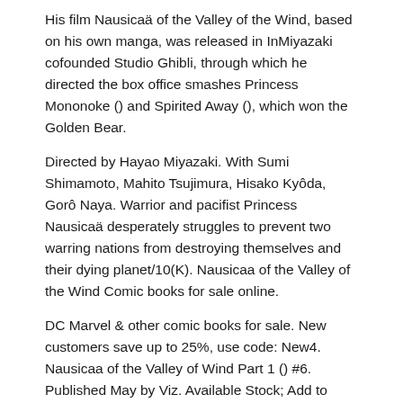His film Nausicaä of the Valley of the Wind, based on his own manga, was released in InMiyazaki cofounded Studio Ghibli, through which he directed the box office smashes Princess Mononoke () and Spirited Away (), which won the Golden Bear.
Directed by Hayao Miyazaki. With Sumi Shimamoto, Mahito Tsujimura, Hisako Kyôda, Gorô Naya. Warrior and pacifist Princess Nausicaä desperately struggles to prevent two warring nations from destroying themselves and their dying planet/10(K). Nausicaa of the Valley of the Wind Comic books for sale online.
DC Marvel & other comic books for sale. New customers save up to 25%, use code: New4. Nausicaa of the Valley of Wind Part 1 () #6. Published May by Viz. Available Stock; Add to want list; Add to cart Fine.
$ Add to cart Fine. $ Add to cart Very Good. $ Add to cart Very Good. $ Issue #7. Nausicaa of the Valley of Wind Part 1 () #7. Published Jun by Viz. Available Stock; Add to want list. Nausicaä of the Valley of Wind OST - The God Warrior. Nausicaä of the Valley of Wind OST -